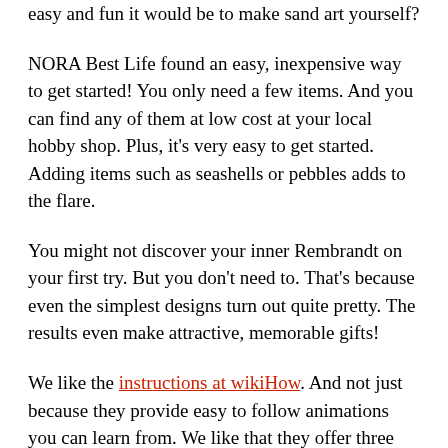easy and fun it would be to make sand art yourself?
NORA Best Life found an easy, inexpensive way to get started! You only need a few items. And you can find any of them at low cost at your local hobby shop. Plus, it's very easy to get started. Adding items such as seashells or pebbles adds to the flare.
You might not discover your inner Rembrandt on your first try. But you don't need to. That's because even the simplest designs turn out quite pretty. The results even make attractive, memorable gifts!
We like the instructions at wikiHow. And not just because they provide easy to follow animations you can learn from. We like that they offer three variations to get you started. All it depends on is the materials you have